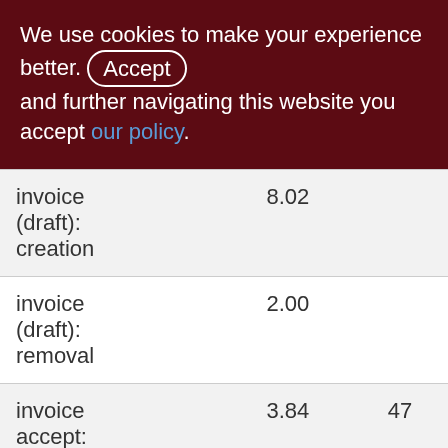We use cookies to make your experience better. By accepting and further navigating this website you accept our policy.
|  |  |  |
| --- | --- | --- |
| invoice (draft): creation | 8.02 |  |
| invoice (draft): removal | 2.00 |  |
| invoice accept: apply | 3.84 | 47... |
| invoice accept: cancel | 1.12 |  |